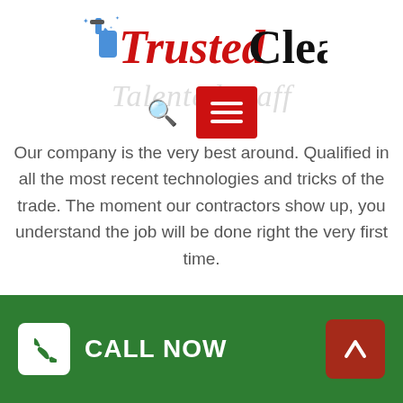[Figure (logo): Trusted Cleaning company logo with spray bottle icon, 'Trusted' in red italic serif and 'Cleaning' in black serif]
[Figure (infographic): Navigation bar with search icon and red hamburger menu button, with faded tagline text 'Talented Staff' in background]
Our company is the very best around. Qualified in all the most recent technologies and tricks of the trade. The moment our contractors show up, you understand the job will be done right the very first time.
[Figure (illustration): Trophy icon inside a light gray circle]
Certification
CALL NOW  [up arrow button]